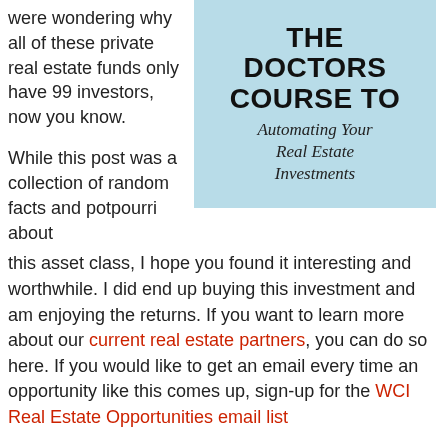were wondering why all of these private real estate funds only have 99 investors, now you know.
[Figure (illustration): Book/course cover image for 'The Doctors Course to Automating Your Real Estate Investments' on a light blue background with stethoscope imagery]
While this post was a collection of random facts and potpourri about this asset class, I hope you found it interesting and worthwhile. I did end up buying this investment and am enjoying the returns. If you want to learn more about our current real estate partners, you can do so here. If you would like to get an email every time an opportunity like this comes up, sign-up for the WCI Real Estate Opportunities email list